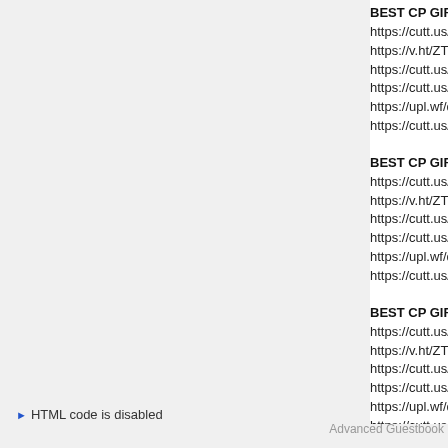BEST CP GIRLS #@
https://cutt.us/k9gxT
https://v.ht/ZTM6
https://cutt.us/CJBB.
https://cutt.us/Edouy
https://upl.wf/d/1X3X
https://cutt.us/990IA
BEST CP GIRLS #@
https://cutt.us/k9gxT
https://v.ht/ZTM6
https://cutt.us/CJBB.
https://cutt.us/Edouy
https://upl.wf/d/1X3X
https://cutt.us/990IA
BEST CP GIRLS #@
https://cutt.us/k9gxT
https://v.ht/ZTM6
https://cutt.us/CJBB.
https://cutt.us/Edouy
https://upl.wf/d/1X3X
https://cutt.us/990IA
BEST CP GIRLS #@
https://cutt.us/k9gxT
https://v.ht/ZTM6
https://cutt.us/CJBB.
https://cutt.us/Edouy
https://upl.wf/d/1X3X
https://cutt.us/990IA
HTML code is disabled
Advanced Guestbook